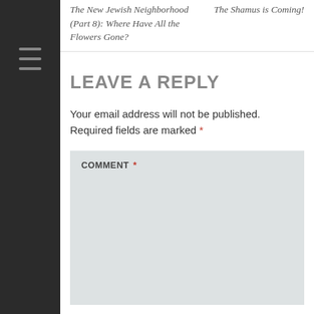The New Jewish Neighborhood (Part 8): Where Have All the Flowers Gone?
The Shamus is Coming!
LEAVE A REPLY
Your email address will not be published. Required fields are marked *
COMMENT *